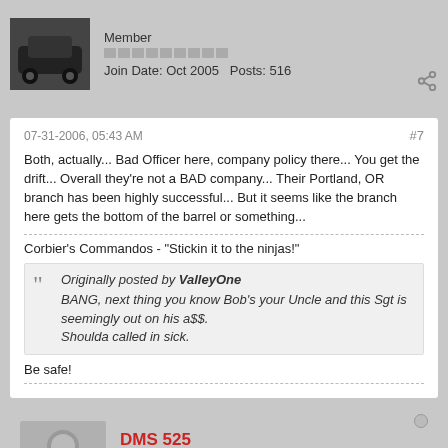Member
Join Date: Oct 2005   Posts: 516
07-31-2006, 05:43 AM
#7
Both, actually... Bad Officer here, company policy there... You get the drift... Overall they're not a BAD company... Their Portland, OR branch has been highly successful... But it seems like the branch here gets the bottom of the barrel or something...
Corbier's Commandos - "Stickin it to the ninjas!"
Originally posted by ValleyOne
BANG, next thing you know Bob's your Uncle and this Sgt is seemingly out on his a$$.
Shouda called in sick.
Be safe!
DMS 525
Member
Join Date: Dec 2005   Posts: 105